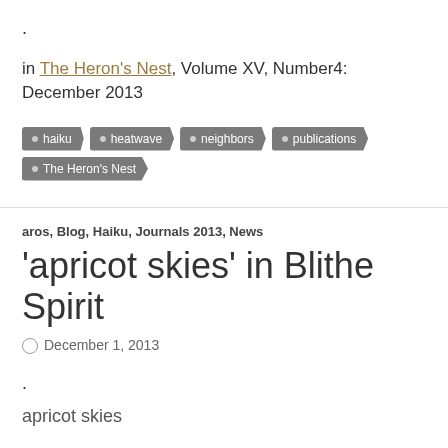.
in The Heron's Nest, Volume XV, Number4: December 2013
haiku
heatwave
neighbors
publications
The Heron's Nest
aros, Blog, Haiku, Journals 2013, News
'apricot skies' in Blithe Spirit
December 1, 2013
.
apricot skies